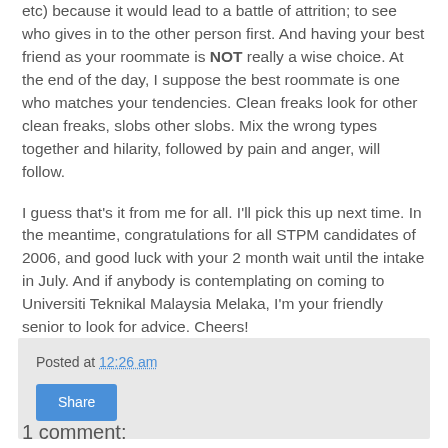etc) because it would lead to a battle of attrition; to see who gives in to the other person first. And having your best friend as your roommate is NOT really a wise choice. At the end of the day, I suppose the best roommate is one who matches your tendencies. Clean freaks look for other clean freaks, slobs other slobs. Mix the wrong types together and hilarity, followed by pain and anger, will follow.

I guess that's it from me for all. I'll pick this up next time. In the meantime, congratulations for all STPM candidates of 2006, and good luck with your 2 month wait until the intake in July. And if anybody is contemplating on coming to Universiti Teknikal Malaysia Melaka, I'm your friendly senior to look for advice. Cheers!
Posted at 12:26 am
Share
1 comment: